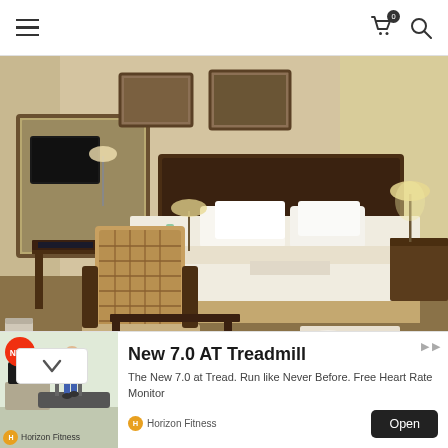Navigation bar with hamburger menu, cart icon (0), and search icon
[Figure (photo): Hotel room at Lake Kive Serena Hotel showing a large bed with white linens, wicker chair, wooden desk, lamps, mirror, and framed artwork on walls]
My room at Lake Kive Serena Hotel
[Figure (infographic): Advertisement for Horizon Fitness New 7.0 AT Treadmill showing a person on a treadmill with NEW badge]
New 7.0 AT Treadmill
The New 7.0 at Tread. Run like Never Before. Free Heart Rate Monitor
Horizon Fitness